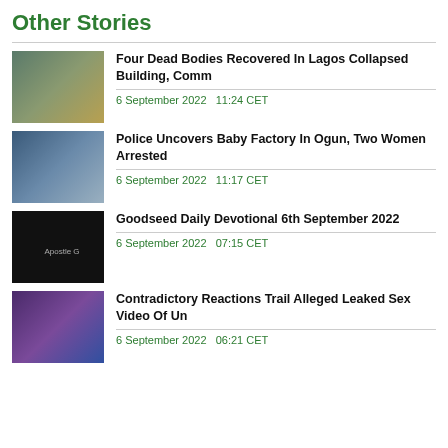Other Stories
Four Dead Bodies Recovered In Lagos Collapsed Building, Comm | 6 September 2022  11:24 CET
Police Uncovers Baby Factory In Ogun, Two Women Arrested | 6 September 2022  11:17 CET
Goodseed Daily Devotional 6th September 2022 | 6 September 2022  07:15 CET
Contradictory Reactions Trail Alleged Leaked Sex Video Of Un | 6 September 2022  06:21 CET